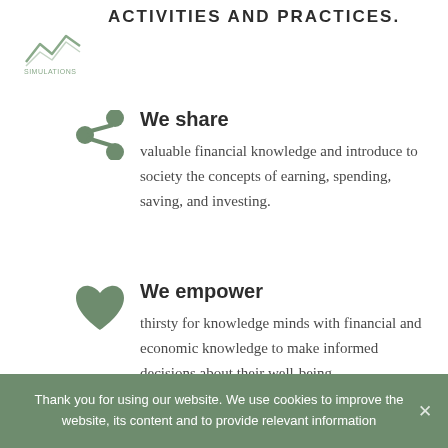[Figure (logo): Small company logo with mountain/chart graphic and text]
ACTIVITIES AND PRACTICES.
We share — valuable financial knowledge and introduce to society the concepts of earning, spending, saving, and investing.
We empower — thirsty for knowledge minds with financial and economic knowledge to make informed decisions about their well-being.
Thank you for using our website. We use cookies to improve the website, its content and to provide relevant information